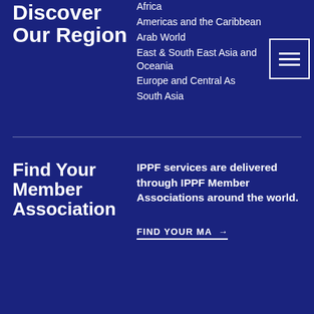Discover Our Region
Africa
Americas and the Caribbean
Arab World
East & South East Asia and Oceania
Europe and Central As…
South Asia
Find Your Member Association
IPPF services are delivered through IPPF Member Associations around the world.
FIND YOUR MA →